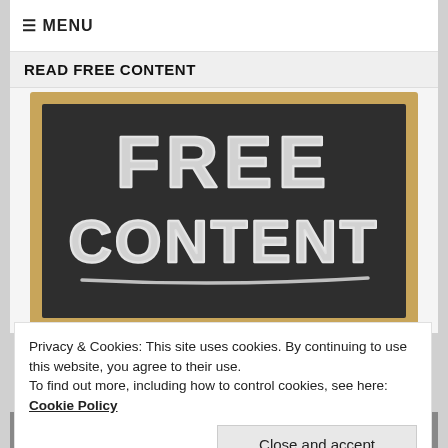≡ MENU
READ FREE CONTENT
[Figure (illustration): Chalkboard with 'FREE CONTENT' written in chalk lettering with underline]
Privacy & Cookies: This site uses cookies. By continuing to use this website, you agree to their use.
To find out more, including how to control cookies, see here: Cookie Policy
Close and accept
[Figure (screenshot): Video thumbnail strip showing a purple avatar with letter A and title 'Chemical Recycling - Advanta...' with a three-dot menu icon]